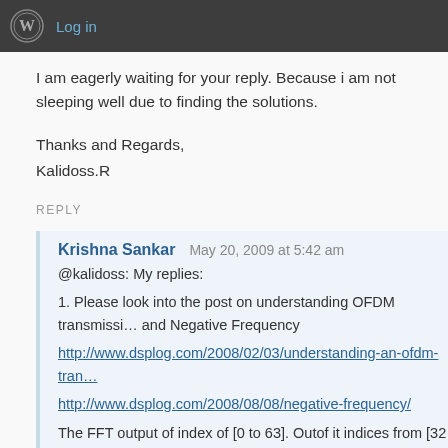Log in
I am eagerly waiting for your reply. Because i am not sleeping well due to finding the solutions.
Thanks and Regards,
Kalidoss.R
REPLY
Krishna Sankar   May 20, 2009 at 5:42 am
@kalidoss: My replies:
1. Please look into the post on understanding OFDM transmission and Negative Frequency
http://www.dsplog.com/2008/02/03/understanding-an-ofdm-transm...
http://www.dsplog.com/2008/08/08/negative-frequency/
The FFT output of index of [0 to 63]. Outof it indices from [32 to ...] correponds to indices [-32 to -1].

2. fftshift() does the re-arrangement of sucbarriers to handle the...